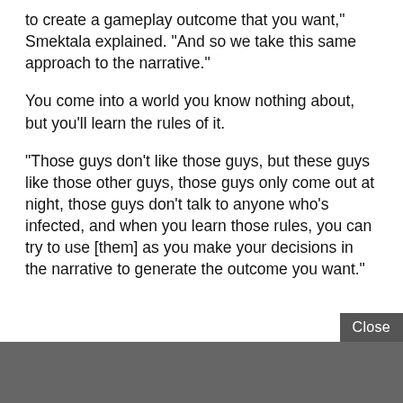to create a gameplay outcome that you want," Smektala explained. "And so we take this same approach to the narrative."
You come into a world you know nothing about, but you'll learn the rules of it.
"Those guys don't like those guys, but these guys like those other guys, those guys only come out at night, those guys don't talk to anyone who's infected, and when you learn those rules, you can try to use [them] as you make your decisions in the narrative to generate the outcome you want."